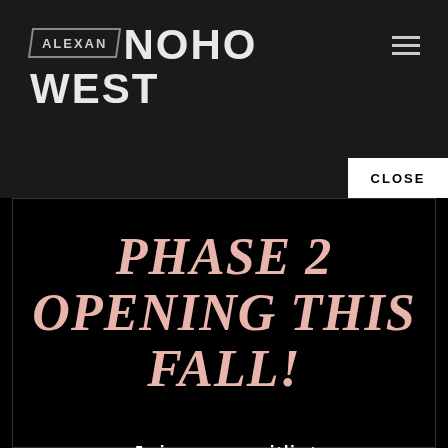[Figure (logo): Alexan NoHo West logo with parallelogram border around ALEXAN text and bold NOHO WEST text beside it]
[Figure (other): Hamburger menu icon (three horizontal lines) in top right corner]
CLOSE
PHASE 2 OPENING THIS FALL!
Join our waitlist to be notified when units